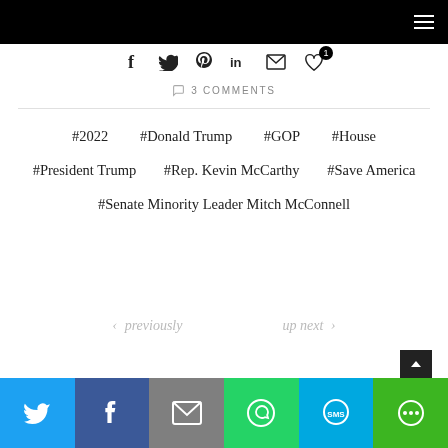Navigation bar with hamburger menu
[Figure (infographic): Social share icons: facebook, twitter, pinterest, linkedin, email, heart with badge 1]
3 COMMENTS
#2022
#Donald Trump
#GOP
#House
#President Trump
#Rep. Kevin McCarthy
#Save America
#Senate Minority Leader Mitch McConnell
previously   up next
Twitter | Facebook | Email | WhatsApp | SMS | More share buttons